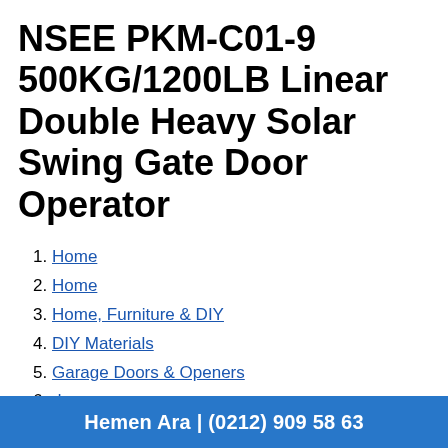NSEE PKM-C01-9 500KG/1200LB Linear Double Heavy Solar Swing Gate Door Operator
Home
Home
Home, Furniture & DIY
DIY Materials
Garage Doors & Openers
door opener
Garage Opener Systems
NSEE PKM-C01-9 500KG/1200LB Linear Double Heavy Solar Swing Gate
Hemen Ara | (0212) 909 58 63